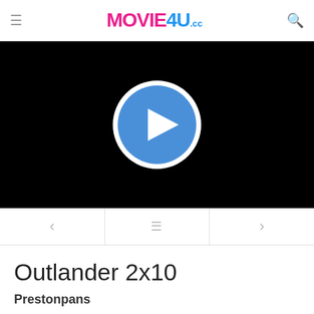MOVIE4U.cc
[Figure (screenshot): Black video player area with a blue circular play button (white triangle) in the center]
[Figure (other): Navigation bar with left arrow, hamburger menu, and right arrow icons]
Outlander 2x10
Prestonpans